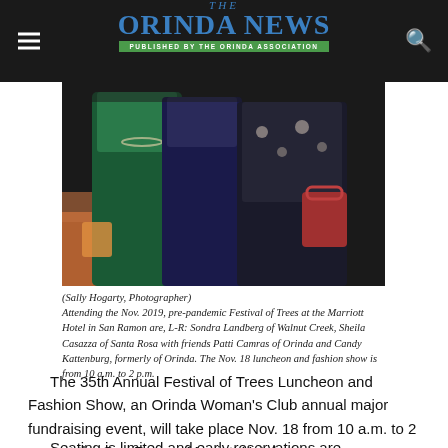The Orinda News — Published by the Orinda Association
[Figure (photo): Photo of women in formal attire at the Festival of Trees event at the Marriott Hotel]
(Sally Hogarty, Photographer)
Attending the Nov. 2019, pre-pandemic Festival of Trees at the Marriott Hotel in San Ramon are, L-R: Sondra Landberg of Walnut Creek, Sheila Casazza of Santa Rosa with friends Patti Camras of Orinda and Candy Kattenburg, formerly of Orinda. The Nov. 18 luncheon and fashion show is from 10 a.m. to 2 p.m.
The 35th Annual Festival of Trees Luncheon and Fashion Show, an Orinda Woman's Club annual major fundraising event, will take place Nov. 18 from 10 a.m. to 2 p.m. at the San Ramon Marriott Hotel.
Seating is limited and early reservations are